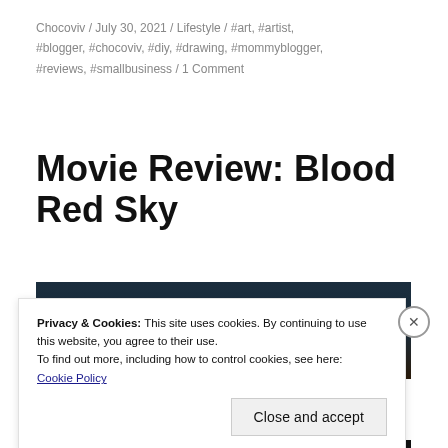Chocoviv / July 30, 2021 / Lifestyle / #art, #artist, #blogger, #chocoviv, #diy, #drawing, #mommyblogger, #reviews, #smallbusiness / 1 Comment
Movie Review: Blood Red Sky
[Figure (photo): Dark cinematic screenshot from the movie Blood Red Sky showing a figure in dim lighting with warm amber/golden tones]
Privacy & Cookies: This site uses cookies. By continuing to use this website, you agree to their use.
To find out more, including how to control cookies, see here:
Cookie Policy
Close and accept